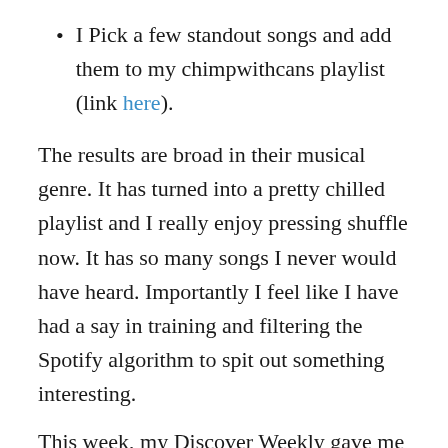I Pick a few standout songs and add them to my chimpwithcans playlist (link here).
The results are broad in their musical genre. It has turned into a pretty chilled playlist and I really enjoy pressing shuffle now. It has so many songs I never would have heard. Importantly I feel like I have had a say in training and filtering the Spotify algorithm to spit out something interesting.
This week, my Discover Weekly gave me the following standout tracks:
Fela Kuti – “Trouble Sleep Yanga Wake Am”. Below is a great review of the song: